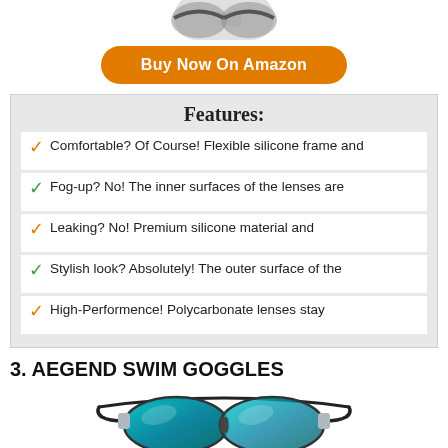[Figure (photo): Top portion of swim goggles product image cropped at top]
Buy Now On Amazon
Features:
Comfortable? Of Course! Flexible silicone frame and
Fog-up? No! The inner surfaces of the lenses are
Leaking? No! Premium silicone material and
Stylish look? Absolutely! The outer surface of the
High-Performence! Polycarbonate lenses stay
3. AEGEND SWIM GOGGLES
[Figure (photo): Two pairs of Aegend swim goggles with colorful mirrored lenses on black frames]